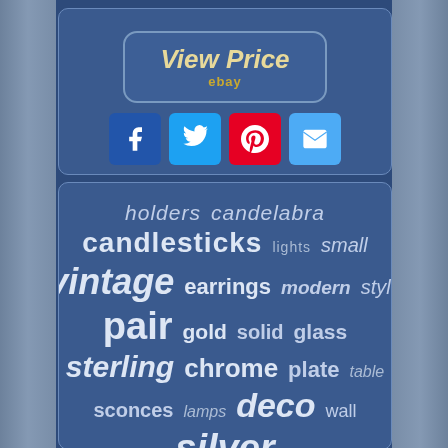[Figure (screenshot): View Price button for eBay listing]
[Figure (infographic): Social sharing buttons: Facebook, Twitter, Pinterest, Email]
[Figure (infographic): Tag cloud with words: holders, candelabra, candlesticks, lights, small, vintage, earrings, modern, style, pair, gold, solid, glass, sterling, chrome, plate, table, sconces, lamps, deco, wall, silver]